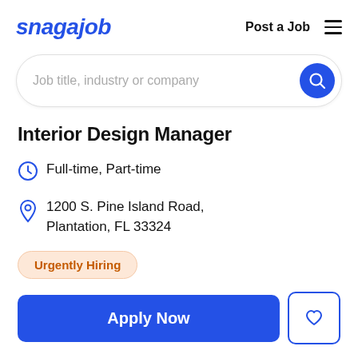snagajob | Post a Job
[Figure (screenshot): Search bar with placeholder text 'Job title, industry or company' and a blue circular search button]
Interior Design Manager
Full-time, Part-time
1200 S. Pine Island Road, Plantation, FL 33324
Urgently Hiring
Apply Now